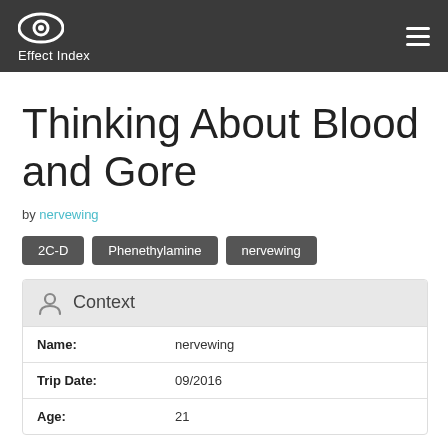Effect Index
Thinking About Blood and Gore
by nervewing
2C-D
Phenethylamine
nervewing
| Field | Value |
| --- | --- |
| Name: | nervewing |
| Trip Date: | 09/2016 |
| Age: | 21 |